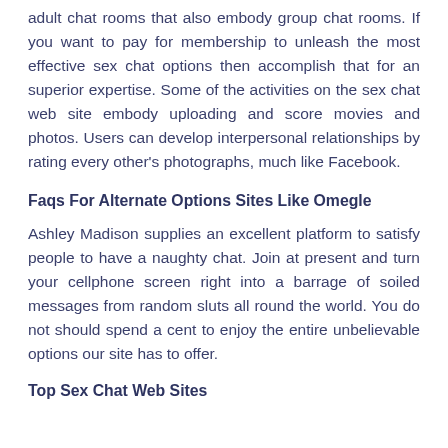adult chat rooms that also embody group chat rooms. If you want to pay for membership to unleash the most effective sex chat options then accomplish that for an superior expertise. Some of the activities on the sex chat web site embody uploading and score movies and photos. Users can develop interpersonal relationships by rating every other's photographs, much like Facebook.
Faqs For Alternate Options Sites Like Omegle
Ashley Madison supplies an excellent platform to satisfy people to have a naughty chat. Join at present and turn your cellphone screen right into a barrage of soiled messages from random sluts all round the world. You do not should spend a cent to enjoy the entire unbelievable options our site has to offer.
Top Sex Chat Web Sites